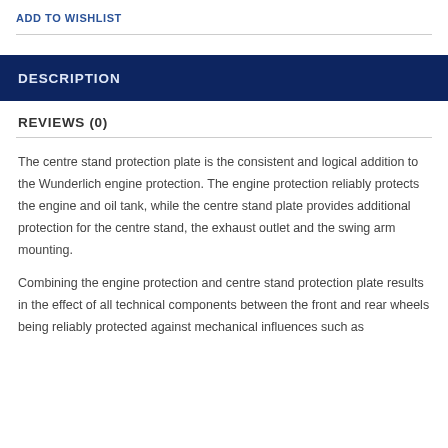ADD TO WISHLIST
DESCRIPTION
REVIEWS (0)
The centre stand protection plate is the consistent and logical addition to the Wunderlich engine protection. The engine protection reliably protects the engine and oil tank, while the centre stand plate provides additional protection for the centre stand, the exhaust outlet and the swing arm mounting.
Combining the engine protection and centre stand protection plate results in the effect of all technical components between the front and rear wheels being reliably protected against mechanical influences such as